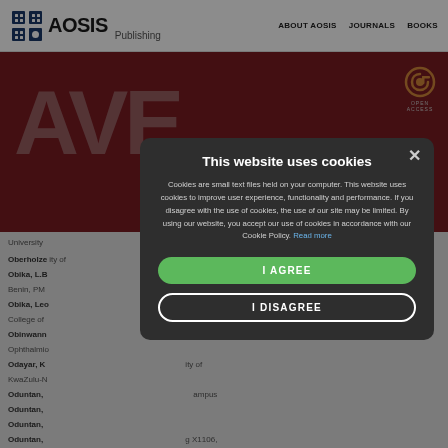AOSIS Publishing | ABOUT AOSIS | JOURNALS | BOOKS
[Figure (screenshot): AOSIS Publishing website screenshot showing journal header in dark red with large 'AVE' text visible, open access badge top right, and background list of author names and affiliations partially visible]
This website uses cookies
Cookies are small text files held on your computer. This website uses cookies to improve user experience, functionality and performance. If you disagree with the use of cookies, the use of our site may be limited. By using our website, you accept our use of cookies in accordance with our Cookie Policy. Read more
I AGREE
I DISAGREE